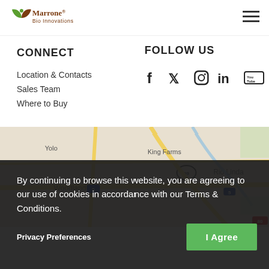[Figure (logo): Marrone Bio Innovations logo with green and brown leaf icon]
CONNECT
FOLLOW US
Location & Contacts
Sales Team
Where to Buy
[Figure (infographic): Social media icons: Facebook, Twitter, Instagram, LinkedIn, YouTube]
[Figure (map): Google Maps showing area around Davis/Woodland CA including Yolo, King Farms, Rio Linda, Interstate 5, 99, 80]
By continuing to browse this website, you are agreeing to our use of cookies in accordance with our Terms & Conditions.
Privacy Preferences
I Agree